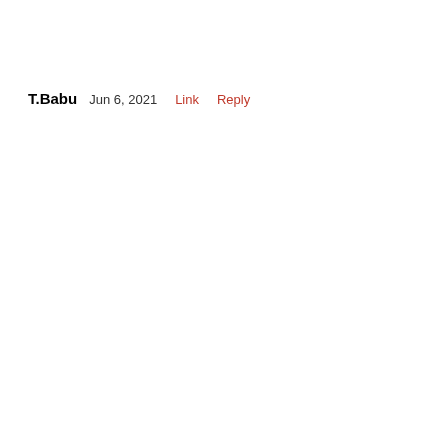T.Babu  Jun 6, 2021  Link  Reply